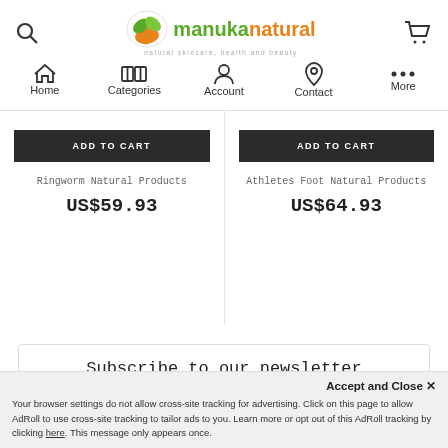manuka natural — natural skincare, health and beauty
Home | Categories | Account | Contact | More
ADD TO CART
Ringworm Natural Products
US$59.93
ADD TO CART
Athletes Foot Natural Products
US$64.93
Subscribe to our newsletter
Accept and Close ×
Your browser settings do not allow cross-site tracking for advertising. Click on this page to allow AdRoll to use cross-site tracking to tailor ads to you. Learn more or opt out of this AdRoll tracking by clicking here. This message only appears once.